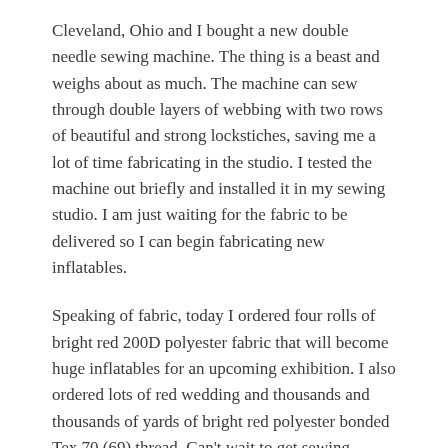Cleveland, Ohio and I bought a new double needle sewing machine. The thing is a beast and weighs about as much. The machine can sew through double layers of webbing with two rows of beautiful and strong lockstiches, saving me a lot of time fabricating in the studio. I tested the machine out briefly and installed it in my sewing studio. I am just waiting for the fabric to be delivered so I can begin fabricating new inflatables.
Speaking of fabric, today I ordered four rolls of bright red 200D polyester fabric that will become huge inflatables for an upcoming exhibition. I also ordered lots of red wedding and thousands and thousands of yards of bright red polyester bonded Tex 70 (69) thread. Can't wait to get sewing.
AUGUST 30, 2015